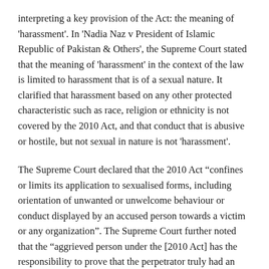interpreting a key provision of the Act: the meaning of 'harassment'. In 'Nadia Naz v President of Islamic Republic of Pakistan & Others', the Supreme Court stated that the meaning of 'harassment' in the context of the law is limited to harassment that is of a sexual nature. It clarified that harassment based on any other protected characteristic such as race, religion or ethnicity is not covered by the 2010 Act, and that conduct that is abusive or hostile, but not sexual in nature is not 'harassment'.
The Supreme Court declared that the 2010 Act “confines or limits its application to sexualised forms, including orientation of unwanted or unwelcome behaviour or conduct displayed by an accused person towards a victim or any organization”. The Supreme Court further noted that the “aggrieved person under the [2010 Act] has the responsibility to prove that the perpetrator truly had an accompanying sexual intention or overture…”